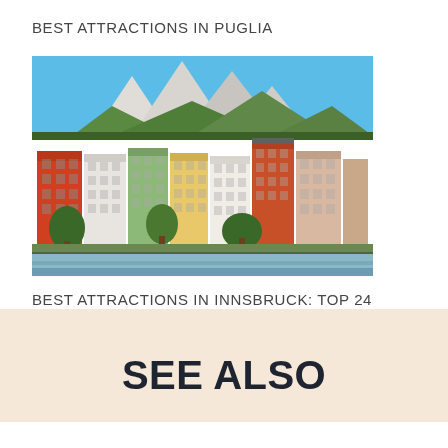BEST ATTRACTIONS IN PUGLIA
[Figure (photo): Colorful historic buildings along the Inn River in Innsbruck with snow-capped mountain peaks in the background under a blue sky]
BEST ATTRACTIONS IN INNSBRUCK: TOP 24
SEE ALSO